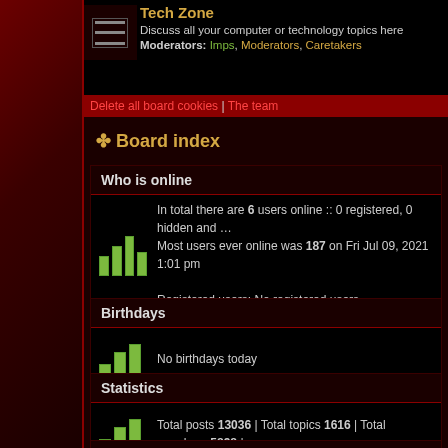Tech Zone - Discuss all your computer or technology topics here - Moderators: Imps, Moderators, Caretakers
Delete all board cookies | The team
Board index
Who is online
In total there are 6 users online :: 0 registered, 0 hidden and ... Most users ever online was 187 on Fri Jul 09, 2021 1:01 pm
Registered users: No registered users
Legend :: Administrators, Global moderators, Imps
Birthdays
No birthdays today
Statistics
Total posts 13036 | Total topics 1616 | Total members 5898 |
Login
Username: [input] Password: [input]